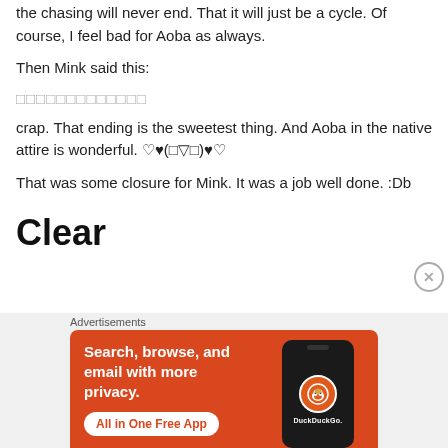the chasing will never end. That it will just be a cycle. Of course, I feel bad for Aoba as always.
Then Mink said this:
□□□□□□□□□□□□□
crap. That ending is the sweetest thing. And Aoba in the native attire is wonderful. ♡♥(□▽□)♥♡
That was some closure for Mink. It was a job well done. :Db
Clear
[Figure (other): Advertisement banner for DuckDuckGo app. Orange background with text 'Search, browse, and email with more privacy. All in One Free App' and a phone mockup showing DuckDuckGo logo.]